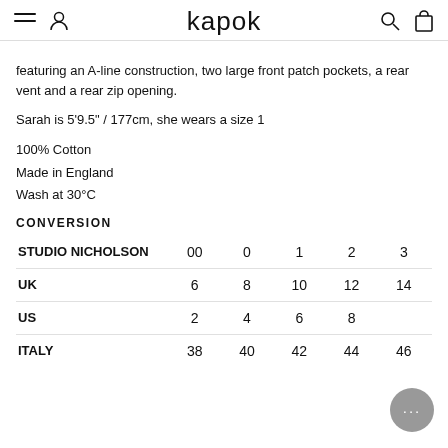kapok
featuring an A-line construction, two large front patch pockets, a rear vent and a rear zip opening.
Sarah is 5'9.5" / 177cm, she wears a size 1
100% Cotton
Made in England
Wash at 30°C
CONVERSION
| STUDIO NICHOLSON | 00 | 0 | 1 | 2 | 3 |
| --- | --- | --- | --- | --- | --- |
| UK | 6 | 8 | 10 | 12 | 14 |
| US | 2 | 4 | 6 | 8 |  |
| ITALY | 38 | 40 | 42 | 44 | 46 |